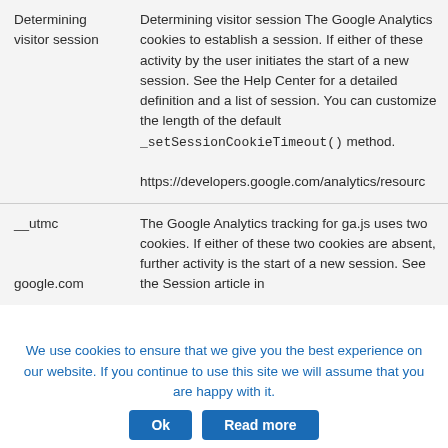| Cookie Name / Domain | Description |
| --- | --- |
| Determining visitor session | Determining visitor session The Google Analytics cookies to establish a session. If either of these activity by the user initiates the start of a new session. See the Help Center for a detailed definition and a list of session. You can customize the length of the default _setSessionCookieTimeout() method.

https://developers.google.com/analytics/resourc |
| __utmc

google.com | The Google Analytics tracking for ga.js uses two cookies. If either of these two cookies are absent, further activity is the start of a new session. See the Session article in |
We use cookies to ensure that we give you the best experience on our website. If you continue to use this site we will assume that you are happy with it.